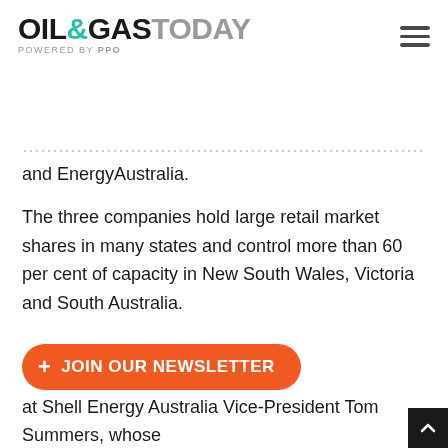OIL&GASTODAY POWERED BY PPO
and EnergyAustralia.
The three companies hold large retail market shares in many states and control more than 60 per cent of capacity in New South Wales, Victoria and South Australia.
+ JOIN OUR NEWSLETTER
at Shell Energy Australia Vice-President Tom Summers, whose